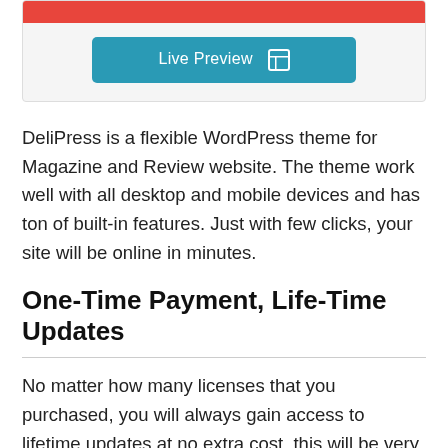[Figure (screenshot): Top portion of a card/widget with a red banner and a teal 'Live Preview' button with a grid icon]
DeliPress is a flexible WordPress theme for Magazine and Review website. The theme work well with all desktop and mobile devices and has ton of built-in features. Just with few clicks, your site will be online in minutes.
One-Time Payment, Life-Time Updates
No matter how many licenses that you purchased, you will always gain access to lifetime updates at no extra cost, this will be very important value to help your website keep updating and work perfectly for long term businesses, especially if your WordPress site is for Magazine, Lifestyle, Newspaper or Portfolio.